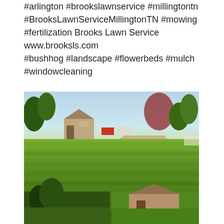#arlington #brookslawnservice #millingtontn #BrooksLawnServiceMillingtonTN #mowing #fertilization Brooks Lawn Service www.brooksls.com #bushhog #landscape #flowerbeds #mulch #windowcleaning
[Figure (photo): Large photo of a freshly mowed green lawn with houses and trees in the background, and a driveway visible. Below it are two smaller photos showing additional views of the same or similar property with green lawn and a house.]